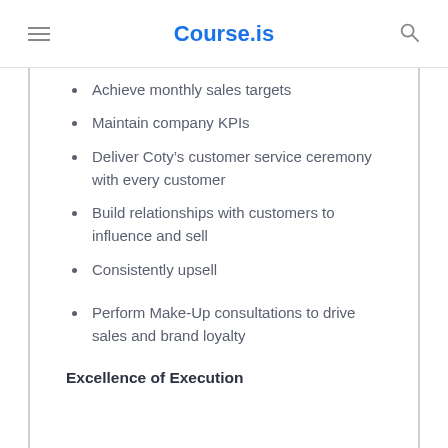Course.is
Achieve monthly sales targets
Maintain company KPIs
Deliver Coty’s customer service ceremony with every customer
Build relationships with customers to influence and sell
Consistently upsell
Perform Make-Up consultations to drive sales and brand loyalty
Excellence of Execution